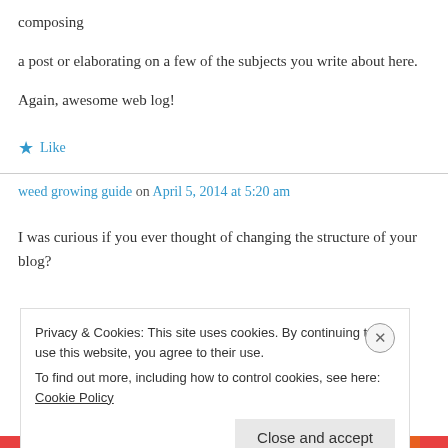composing
a post or elaborating on a few of the subjects you write about here.
Again, awesome web log!
★ Like
weed growing guide on April 5, 2014 at 5:20 am
I was curious if you ever thought of changing the structure of your blog?
Privacy & Cookies: This site uses cookies. By continuing to use this website, you agree to their use.
To find out more, including how to control cookies, see here: Cookie Policy